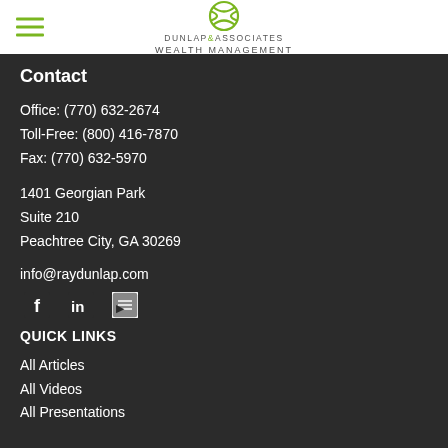Dunlap & Associates Wealth Management
Contact
Office: (770) 632-2674
Toll-Free: (800) 416-7870
Fax: (770) 632-5970
1401 Georgian Park
Suite 210
Peachtree City, GA 30269
info@raydunlap.com
[Figure (logo): Social media icons: Facebook, LinkedIn, YouTube]
QUICK LINKS
All Articles
All Videos
All Presentations